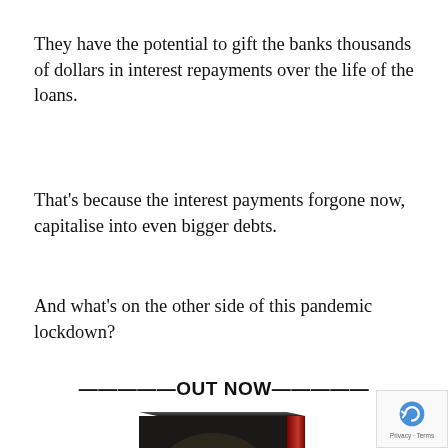They have the potential to gift the banks thousands of dollars in interest repayments over the life of the loans.
That's because the interest payments forgone now, capitalise into even bigger debts.
And what's on the other side of this pandemic lockdown?
————————OUT NOW————————
[Figure (photo): Book cover: The Mid-Cycle Almanac: Your Investing — Cycles Trends & Forecasts, dark cover with yellow title text and red spine.]